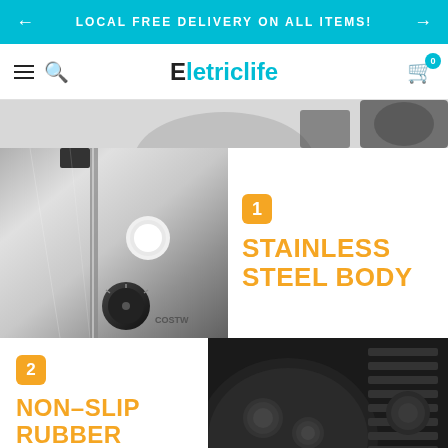LOCAL FREE DELIVERY ON ALL ITEMS!
Eletriclife
[Figure (photo): Top partial view of a kitchen appliance (juicer/blender) showing top components]
[Figure (photo): Close-up of stainless steel body of a kitchen appliance with dial controls and Costway branding]
1 STAINLESS STEEL BODY
[Figure (photo): Close-up of black rubber feet / base of a kitchen appliance]
2 NON-SLIP RUBBER FEET
ADD TO CART
3